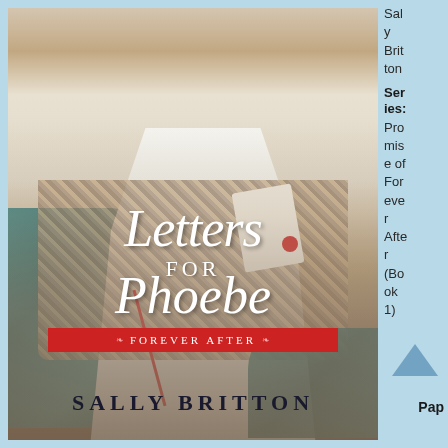[Figure (illustration): Book cover of 'Letters for Phoebe' by Sally Britton. Shows a Regency-era woman in a white blouse and teal/peacock shawl over a patterned skirt, holding a letter with a red wax seal. The cover has decorative script title text, a red banner reading 'Forever After', and the author name at the bottom.]
Sally Britton
Series: Promise of Forever After (Book 1)
Pap